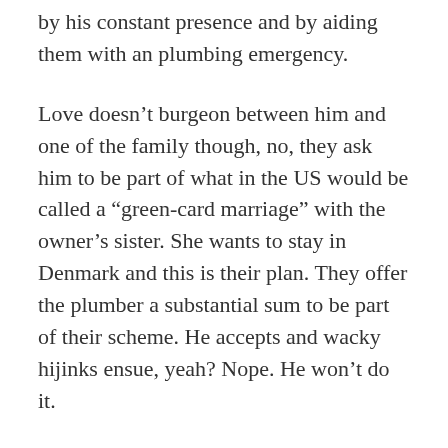by his constant presence and by aiding them with an plumbing emergency.
Love doesn't burgeon between him and one of the family though, no, they ask him to be part of what in the US would be called a “green-card marriage” with the owner’s sister. She wants to stay in Denmark and this is their plan. They offer the plumber a substantial sum to be part of their scheme. He accepts and wacky hijinks ensue, yeah? Nope. He won’t do it.
Our protagonist is forced to reconsider when his wife makes demands for money in their divorce settlement that he doesn’t have. The movie finally takes a turn for the predictable, but it’s brief. Love doesn’t necessarily conform to the predictable.